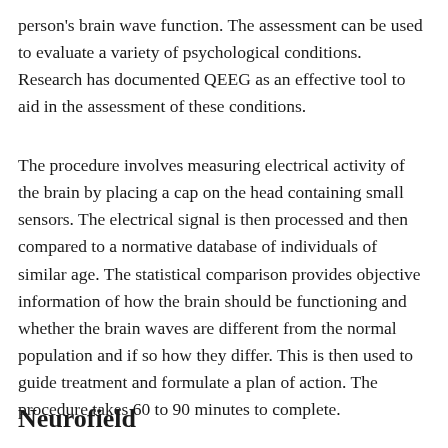person's brain wave function. The assessment can be used to evaluate a variety of psychological conditions. Research has documented QEEG as an effective tool to aid in the assessment of these conditions.
The procedure involves measuring electrical activity of the brain by placing a cap on the head containing small sensors. The electrical signal is then processed and then compared to a normative database of individuals of similar age. The statistical comparison provides objective information of how the brain should be functioning and whether the brain waves are different from the normal population and if so how they differ. This is then used to guide treatment and formulate a plan of action. The procedure takes 60 to 90 minutes to complete.
Neurofield